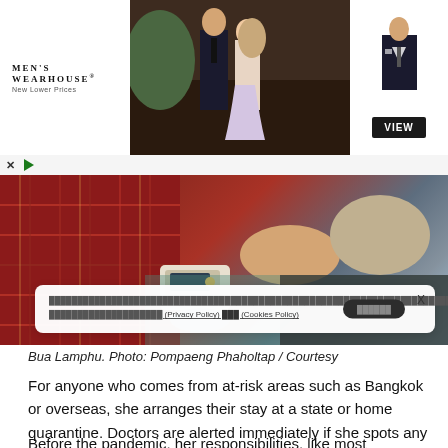[Figure (photo): Men's Wearhouse advertisement banner showing a couple in formal wear and a man in a suit, with VIEW button]
[Figure (photo): Medical photo showing a patient having blood pressure measured with a device, red blanket visible, healthcare setting]
Bua Lamphu. Photo: Pompaeng Phaholtap / Courtesy
For anyone who comes from at-risk areas such as Bangkok or overseas, she arranges their stay at a state or home quarantine. Doctors are alerted immediately if she spots any coronavirus-like symptoms.
Before the pandemic, her responsibilities, like most